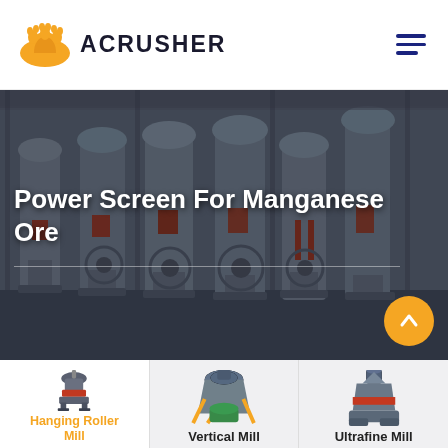[Figure (logo): Acrusher logo: orange hard hat icon with company name ACRUSHER in dark bold text]
[Figure (photo): Industrial grinding mill machinery in a factory floor, multiple large vertical roller mills in a row, dimly lit industrial setting]
Power Screen For Manganese Ore
[Figure (photo): Hanging Roller Mill machine - small industrial grinding mill with red accent]
[Figure (photo): Vertical Mill machine - large industrial vertical grinding mill with orange accents]
[Figure (photo): Ultrafine Mill machine - industrial ultrafine grinding mill]
Hanging Roller Mill
Vertical Mill
Ultrafine Mill